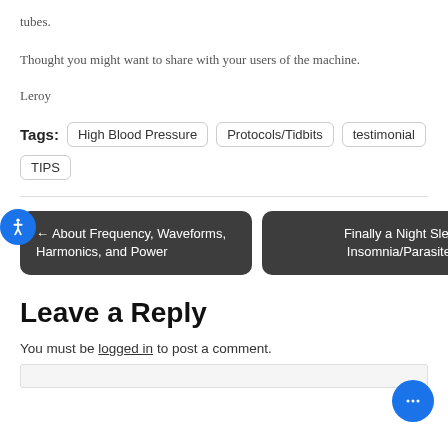tubes.
Thought you might want to share with your users of the machine.
Leroy
Tags: High Blood Pressure  Protocols/Tidbits  testimonial  TIPS
← About Frequency, Waveforms, Harmonics, and Power
Finally a Night Sleep – Insomnia/Parasites →
Leave a Reply
You must be logged in to post a comment.